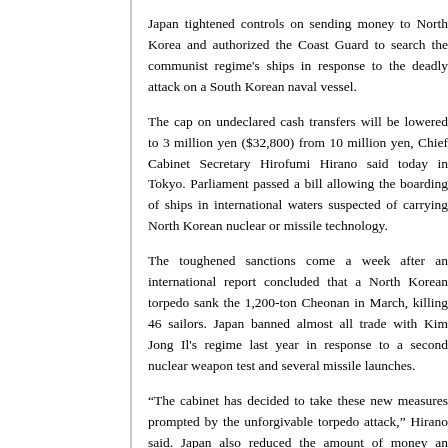Japan tightened controls on sending money to North Korea and authorized the Coast Guard to search the communist regime's ships in response to the deadly attack on a South Korean naval vessel.
The cap on undeclared cash transfers will be lowered to 3 million yen ($32,800) from 10 million yen, Chief Cabinet Secretary Hirofumi Hirano said today in Tokyo. Parliament passed a bill allowing the boarding of ships in international waters suspected of carrying North Korean nuclear or missile technology.
The toughened sanctions come a week after an international report concluded that a North Korean torpedo sank the 1,200-ton Cheonan in March, killing 46 sailors. Japan banned almost all trade with Kim Jong Il's regime last year in response to a second nuclear weapon test and several missile launches.
“The cabinet has decided to take these new measures prompted by the unforgivable torpedo attack,” Hirano said. Japan also reduced the amount of money an individual can legally take into North Korea to 100,000 yen from 300,000 yen, he said.
Prime Minister Yukio Hatoyama will hold a two-day summit with South Korean President Lee Myung Bak and Chinese Premier Wen Jiabao starting tomorrow on South Korea’s Jeju Island. Japan and the U.S. are pushing Wen to acknowledge and condemn North Korea’s role in sinking the ship.
Koreans in Japan